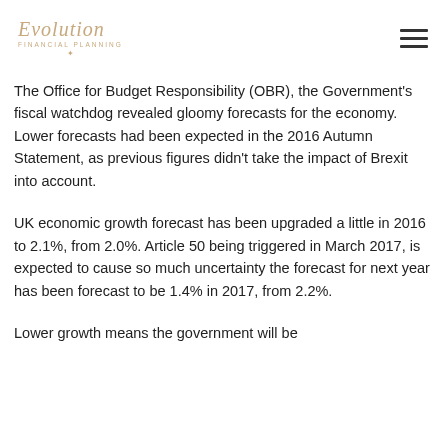Evolution Financial Planning
The Office for Budget Responsibility (OBR), the Government’s fiscal watchdog revealed gloomy forecasts for the economy. Lower forecasts had been expected in the 2016 Autumn Statement, as previous figures didn’t take the impact of Brexit into account.
UK economic growth forecast has been upgraded a little in 2016 to 2.1%, from 2.0%. Article 50 being triggered in March 2017, is expected to cause so much uncertainty the forecast for next year has been forecast to be 1.4% in 2017, from 2.2%.
Lower growth means the government will be